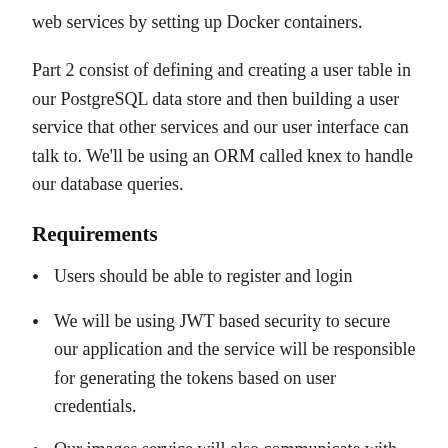web services by setting up Docker containers.
Part 2 consist of defining and creating a user table in our PostgreSQL data store and then building a user service that other services and our user interface can talk to. We'll be using an ORM called knex to handle our database queries.
Requirements
Users should be able to register and login
We will be using JWT based security to secure our application and the service will be responsible for generating the tokens based on user credentials.
Our images service will also communicate with